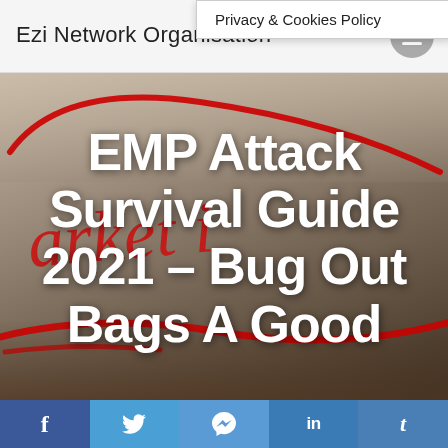Ezi Network Organisation
Privacy & Cookies Policy
[Figure (screenshot): Hero image with dark blurred background showing a hand holding a red marker. Red handwritten script text overlays the image. White bold text reads: EMP Attack Survival Guide 2021 – Bug Out Bags A Good]
EMP Attack Survival Guide 2021 – Bug Out Bags A Good
f  t  m  in  t (social share buttons: Facebook, Twitter, Messenger, LinkedIn, Tumblr)